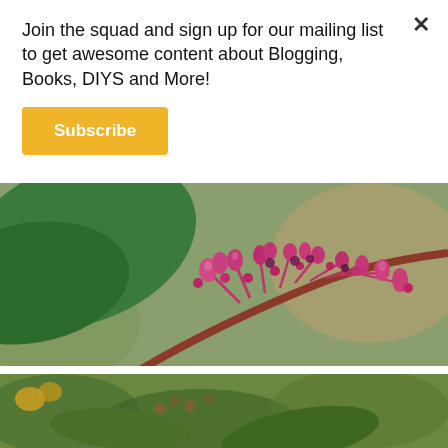Join the squad and sign up for our mailing list to get awesome content about Blogging, Books, DIYS and More!
Subscribe
[Figure (photo): Close-up photograph of pink/magenta flowering plant buds on a stem with green leaves in the background]
[Figure (photo): Close-up photograph of green plant with small flowers/buds, yellow flowers visible in background]